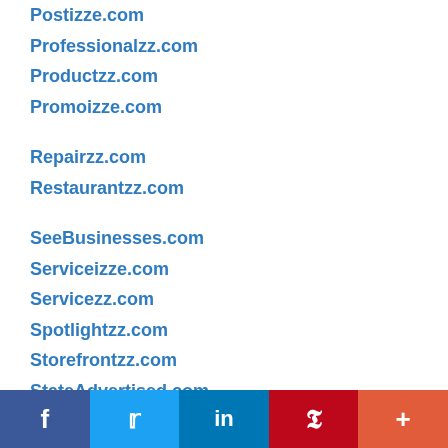Postizze.com
Professionalzz.com
Productzz.com
Promoizze.com
Repairzz.com
Restaurantzz.com
SeeBusinesses.com
Serviceizze.com
Servicezz.com
Spotlightzz.com
Storefrontzz.com
StateAdvertised.com
StateFeatured.com
StatePromoted.com
Stateizze.com
f  Twitter  in  P  +